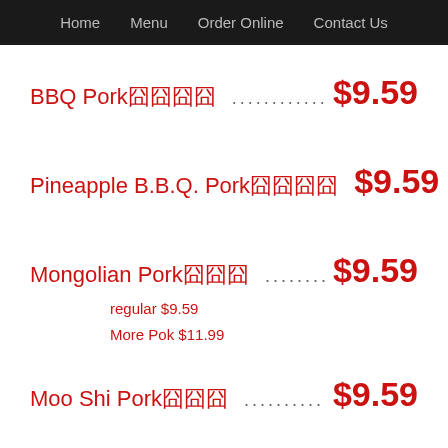Home   Menu   Order Online   Contact Us
BBQ Pork囧囧囧囧  .......................... $9.59
Pineapple B.B.Q. Pork囧囧囧囧  ........ $9.59
Mongolian Pork囧囧囧  .............. $9.59
regular $9.59
More Pok $11.99
Moo Shi Pork囧囧囧  ............... $9.59